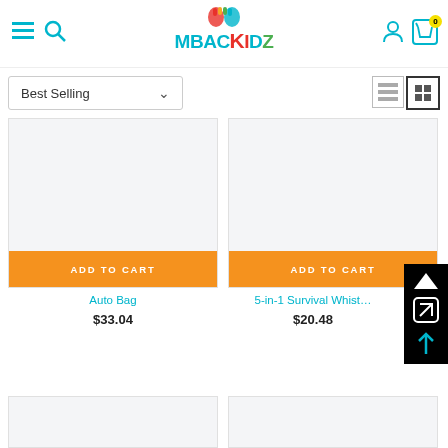[Figure (screenshot): MbackKidz e-commerce website header with logo, hamburger menu, search icon, user icon, and cart badge showing 0]
Best Selling
[Figure (screenshot): Product card for Auto Bag with light grey image placeholder and orange ADD TO CART button]
[Figure (screenshot): Product card for 5-in-1 Survival Whistle with light grey image placeholder and orange ADD TO CART button]
Auto Bag
$33.04
5-in-1 Survival Whistl…
$20.48
[Figure (screenshot): Two more product card placeholders at the bottom of the page]
[Figure (other): Floating overlay panel with back-to-top arrow, share icon, and up arrow]